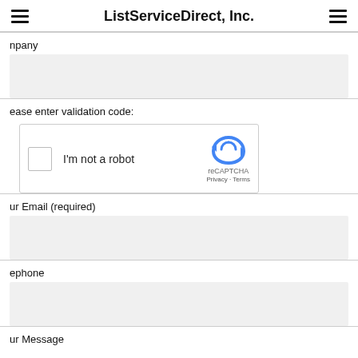ListServiceDirect, Inc.
npany
ease enter validation code:
[Figure (other): reCAPTCHA widget with checkbox labeled 'I'm not a robot' and reCAPTCHA logo with Privacy and Terms links]
ur Email (required)
ephone
ur Message